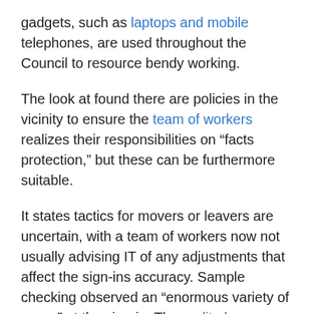gadgets, such as laptops and mobile telephones, are used throughout the Council to resource bendy working.
The look at found there are policies in the vicinity to ensure the team of workers realizes their responsibilities on “facts protection,” but these can be furthermore suitable.
It states tactics for movers or leavers are uncertain, with a team of workers now not usually advising IT of any adjustments that affect the sign-ins accuracy. Sample checking observed an “enormous variety of errors” at the sign-in. The audit also discovered disposal strategies weren’t usually followed. This protected stock of no longer required Apple devices that have been saved in an open plan office once they must be thrown away, and any other batch of 97